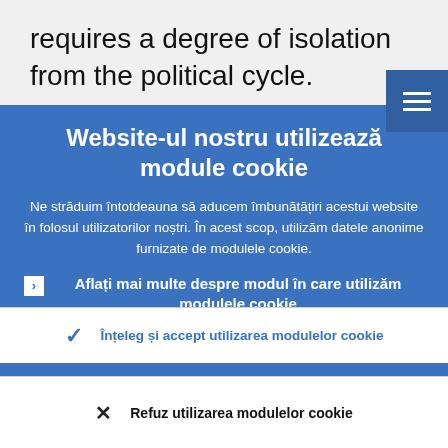requires a degree of isolation from the political cycle.
Website-ul nostru utilizează module cookie
Ne străduim întotdeauna să aducem îmbunătățiri acestui website în folosul utilizatorilor noștri. În acest scop, utilizăm datele anonime furnizate de modulele cookie.
Aflați mai multe despre modul în care utilizăm modulele cookie
Înțeleg și accept utilizarea modulelor cookie
Refuz utilizarea modulelor cookie